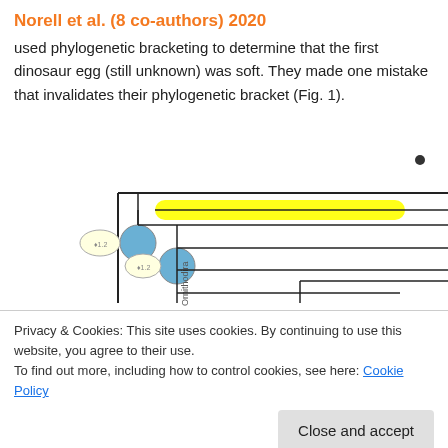Norell et al. (8 co-authors) 2020
used phylogenetic bracketing to determine that the first dinosaur egg (still unknown) was soft. They made one mistake that invalidates their phylogenetic bracket (Fig. 1).
[Figure (other): Phylogenetic tree diagram showing evolutionary relationships among Crocodylia, Pterosauromorpha, Lagerpetidae, Silesauridae, and Heterodontosaurus, with egg symbols and colored blocks indicating egg type. A yellow highlighted bar is shown on one branch. Ornithodira label on vertical axis.]
Privacy & Cookies: This site uses cookies. By continuing to use this website, you agree to their use.
To find out more, including how to control cookies, see here: Cookie Policy
Close and accept
Massospondylus